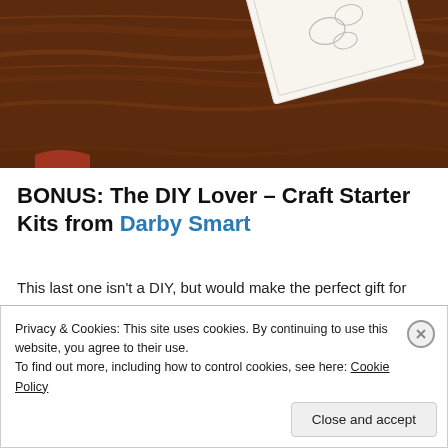[Figure (photo): Photograph of a dark wood table surface with a decorative floral paper or card element in the upper right, partially visible. Dark reddish-brown wood grain texture fills the background.]
BONUS: The DIY Lover – Craft Starter Kits from Darby Smart
This last one isn't a DIY, but would make the perfect gift for someone who likes to craft from another friend who doesn't! From glass etching to candle making, this won't
Privacy & Cookies: This site uses cookies. By continuing to use this website, you agree to their use.
To find out more, including how to control cookies, see here: Cookie Policy
Close and accept